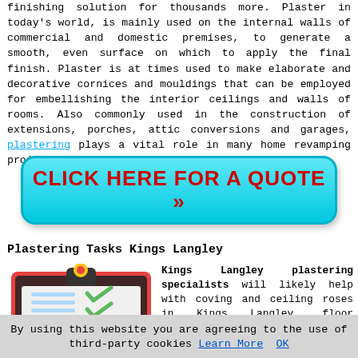finishing solution for thousands more. Plaster in today's world, is mainly used on the internal walls of commercial and domestic premises, to generate a smooth, even surface on which to apply the final finish. Plaster is at times used to make elaborate and decorative cornices and mouldings that can be employed for embellishing the interior ceilings and walls of rooms. Also commonly used in the construction of extensions, porches, attic conversions and garages, plastering plays a vital role in many home revamping projects in Kings Langley.
[Figure (other): Cyan/teal rounded button with red bold text: CLICK HERE FOR A QUOTE >>]
Plastering Tasks Kings Langley
[Figure (illustration): Clipboard illustration with checklist on red background with green checkmarks]
Kings Langley plastering specialists will likely help with coving and ceiling roses in Kings Langley, floor levelling and screeding, damaged plaster restoration,
By using this website you are agreeing to the use of third-party cookies Learn More OK